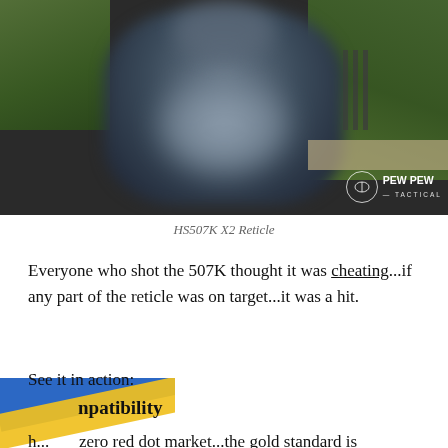[Figure (photo): Blurred/defocused view through a reflex sight (HS507K X2) showing a dark blurred object against a grassy outdoor background. PEW PEW TACTICAL logo visible in bottom right corner.]
HS507K X2 Reticle
Everyone who shot the 507K thought it was cheating...if any part of the reticle was on target...it was a hit.
See it in action:
npatibility
h...zero red dot market...the gold standard is